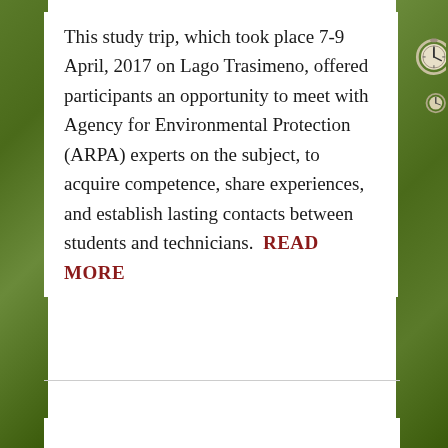This study trip, which took place 7-9 April, 2017 on Lago Trasimeno, offered participants an opportunity to meet with Agency for Environmental Protection (ARPA) experts on the subject, to acquire competence, share experiences, and establish lasting contacts between students and technicians.  READ MORE